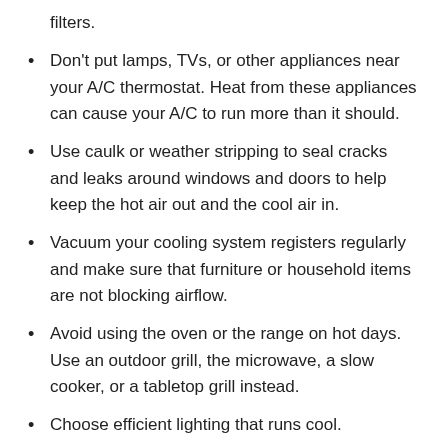filters.
Don't put lamps, TVs, or other appliances near your A/C thermostat. Heat from these appliances can cause your A/C to run more than it should.
Use caulk or weather stripping to seal cracks and leaks around windows and doors to help keep the hot air out and the cool air in.
Vacuum your cooling system registers regularly and make sure that furniture or household items are not blocking airflow.
Avoid using the oven or the range on hot days. Use an outdoor grill, the microwave, a slow cooker, or a tabletop grill instead.
Choose efficient lighting that runs cool.